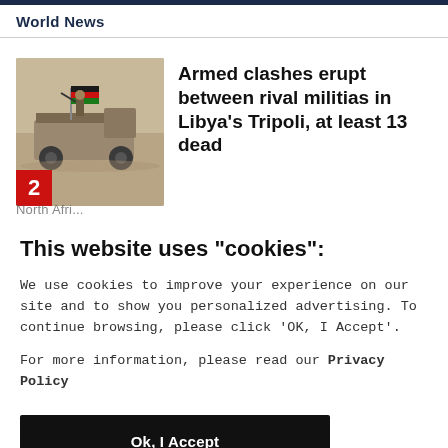World News
[Figure (photo): A military truck with armed fighters and a Libyan flag, in a desert/conflict setting. Badge number '2' in red in bottom-left corner.]
Armed clashes erupt between rival militias in Libya's Tripoli, at least 13 dead
North Afri...
This website uses "cookies":
We use cookies to improve your experience on our site and to show you personalized advertising. To continue browsing, please click 'OK, I Accept'.
For more information, please read our Privacy Policy
Ok, I Accept